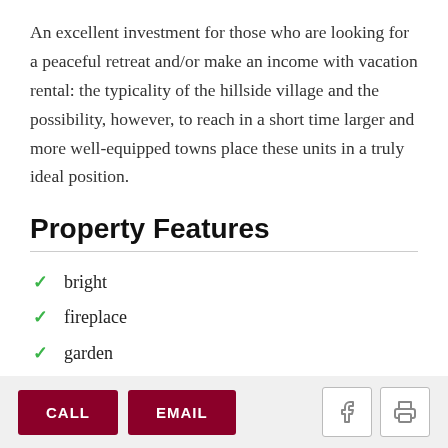An excellent investment for those who are looking for a peaceful retreat and/or make an income with vacation rental: the typicality of the hillside village and the possibility, however, to reach in a short time larger and more well-equipped towns place these units in a truly ideal position.
Property Features
bright
fireplace
garden
CALL  EMAIL  [facebook icon]  [print icon]